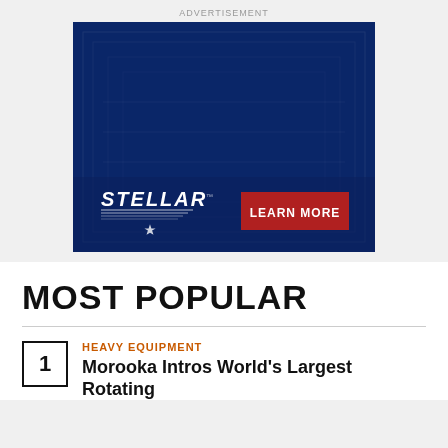ADVERTISEMENT
[Figure (photo): Stellar brand advertisement with dark blue background showing industrial/warehouse equipment, featuring the Stellar logo and a red 'LEARN MORE' button]
MOST POPULAR
HEAVY EQUIPMENT
Morooka Intros World's Largest Rotating